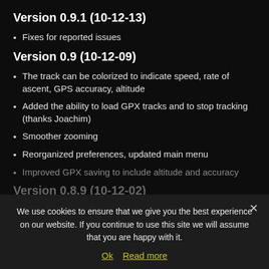Version 0.9.1 (10-12-13)
Fixes for reported issues
Version 0.9 (10-12-09)
The track can be colorized to indicate speed, rate of ascent, GPS accuracy, altitude
Added the ability to load GPX tracks and to stop tracking (thanks Joachim)
Smoother zooming
Reorganized preferences, updated main menu
Improved GPX saving to include altitude and accuracy
Version 0.8.9 (10-12-02)
Added option to display the current zoom level
We use cookies to ensure that we give you the best experience on our website. If you continue to use this site we will assume that you are happy with it.
Ok   Read more